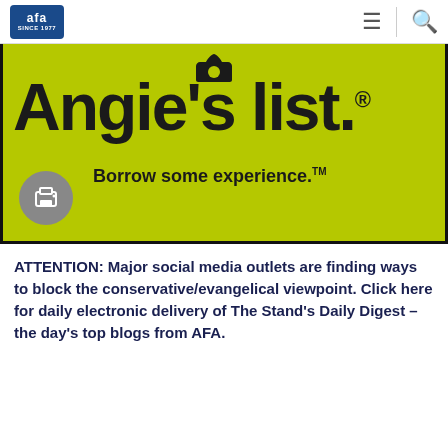AFA (logo) since 1977
[Figure (logo): Angie's List advertisement banner with lime green background showing 'Angie's list.' logo in large bold black text, with tagline 'Borrow some experience.™' and a print button icon in the lower left]
ATTENTION: Major social media outlets are finding ways to block the conservative/evangelical viewpoint. Click here for daily electronic delivery of The Stand's Daily Digest – the day's top blogs from AFA.